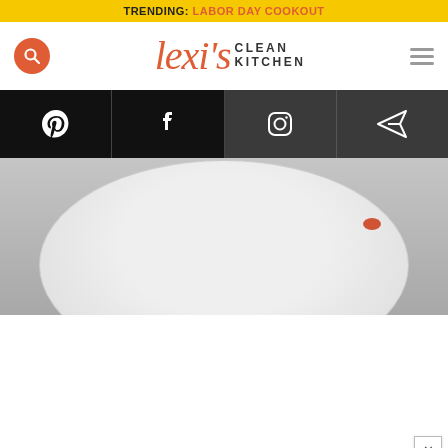TRENDING: LABOR DAY COOKOUT
[Figure (logo): Lexi's Clean Kitchen logo — script 'lexi's' in coral/orange with 'CLEAN KITCHEN' in bold dark sans-serif]
[Figure (infographic): Social media icon bar with Pinterest, Facebook, Instagram, and direct message icons on black/dark background]
[Figure (photo): Partial view of a white plate on a grey surface with food visible at the edge]